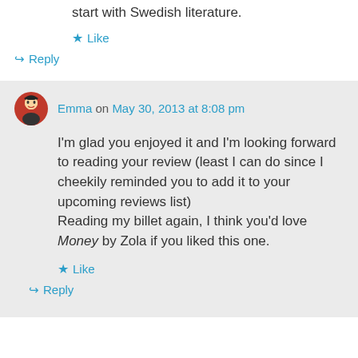start with Swedish literature.
Like
Reply
Emma on May 30, 2013 at 8:08 pm
I'm glad you enjoyed it and I'm looking forward to reading your review (least I can do since I cheekily reminded you to add it to your upcoming reviews list) Reading my billet again, I think you'd love Money by Zola if you liked this one.
Like
Reply